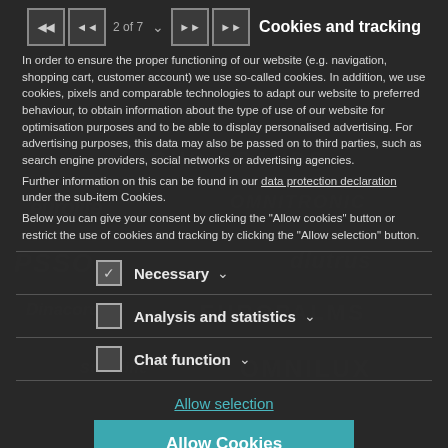Cookies and tracking
In order to ensure the proper functioning of our website (e.g. navigation, shopping cart, customer account) we use so-called cookies. In addition, we use cookies, pixels and comparable technologies to adapt our website to preferred behaviour, to obtain information about the type of use of our website for optimisation purposes and to be able to display personalised advertising. For advertising purposes, this data may also be passed on to third parties, such as search engine providers, social networks or advertising agencies.
Further information on this can be found in our data protection declaration under the sub-item Cookies.
Below you can give your consent by clicking the "Allow cookies" button or restrict the use of cookies and tracking by clicking the "Allow selection" button.
Necessary (checked)
Analysis and statistics (unchecked)
Chat function (unchecked)
Allow selection
Allow Cookies